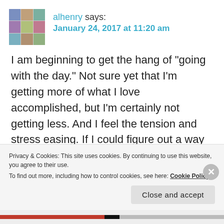[Figure (illustration): Avatar image for user alhenry, showing a 3x3 grid mosaic of colored portrait-style tiles]
alhenry says:
January 24, 2017 at 11:20 am
I am beginning to get the hang of “going with the day.” Not sure yet that I’m getting more of what I love accomplished, but I’m certainly not getting less. And I feel the tension and stress easing. If I could figure out a way to more effectively deal with e-mail, FB, and Twitter, I’d have caught the golden ring. Your list sounds centered, basic, and doable–which I think of as the hallmarks of a successful plan that doesn’t leave you wanting to jump out a window or
Privacy & Cookies: This site uses cookies. By continuing to use this website, you agree to their use.
To find out more, including how to control cookies, see here: Cookie Policy
Close and accept